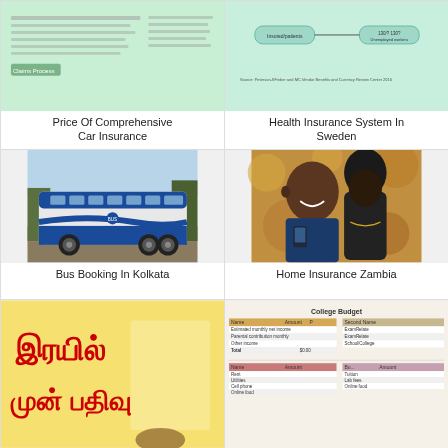[Figure (screenshot): Thumbnail image for Price Of Comprehensive Car Insurance - green background with text and logo]
Price Of Comprehensive Car Insurance
[Figure (screenshot): Thumbnail image for Health Insurance System In Sweden - teal background with diagram]
Health Insurance System In Sweden
[Figure (photo): Blue and white bus parked on a road - Bus Booking In Kolkata]
Bus Booking In Kolkata
[Figure (photo): A man and woman smiling together - Home Insurance Zambia]
Home Insurance Zambia
[Figure (illustration): Tamil text in red on yellow background reading railway advance booking]
[Figure (screenshot): College Budget spreadsheet template showing income and expense tables]